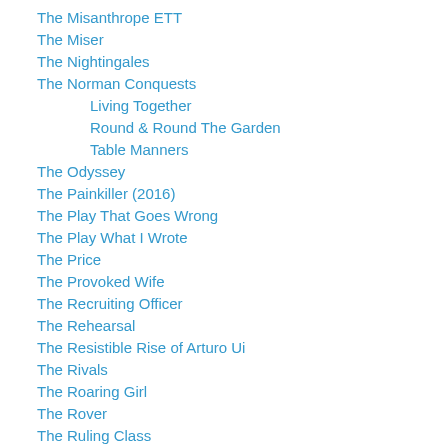The Misanthrope ETT
The Miser
The Nightingales
The Norman Conquests
Living Together
Round & Round The Garden
Table Manners
The Odyssey
The Painkiller (2016)
The Play That Goes Wrong
The Play What I Wrote
The Price
The Provoked Wife
The Recruiting Officer
The Rehearsal
The Resistible Rise of Arturo Ui
The Rivals
The Roaring Girl
The Rover
The Ruling Class